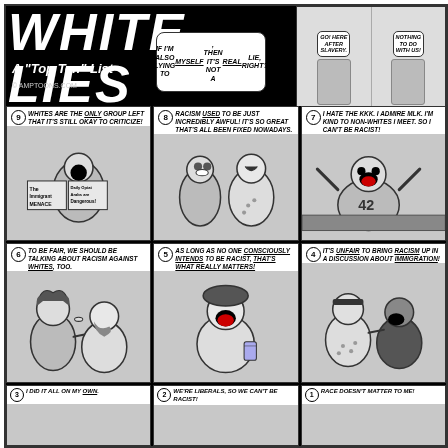WHITE LIES
A "Top Ten" List
© amptoons.com
[Figure (illustration): Comic strip panels showing characters with speech bubbles discussing racism-related 'white lies'. Header shows title 'WHITE LIES A Top Ten List' with a character saying 'IF I'M ALSO LYING TO MYSELF, THEN IT'S NOT A REAL LIE, RIGHT?'. Top right panel shows two characters, one saying 'GO! HERE AFTER SLAVERY.' and another saying 'NOTHING TO DO WITH US!'. Panel 9: 'WHITES ARE THE ONLY GROUP LEFT THAT IT'S STILL OKAY TO CRITICIZE!' with a character reading newspapers. Panel 8: 'RACISM USED TO BE JUST INCREDIBLY AWFUL! IT'S SO GREAT THAT'S ALL BEEN FIXED NOWADAYS.' with two characters talking. Panel 7: 'I HATE THE KKK. I ADMIRE MLK. I'M KIND TO NON-WHITES I MEET. SO I CAN'T BE RACIST!' with a sports fan character. Panel 6: 'TO BE FAIR, WE SHOULD BE TALKING ABOUT RACISM AGAINST WHITES, TOO.' Panel 5: 'AS LONG AS NO ONE CONSCIOUSLY INTENDS TO BE RACIST, THAT'S WHAT REALLY MATTERS!' Panel 4: 'IT'S UNFAIR TO BRING RACISM UP IN A DISCUSSION ABOUT IMMIGRATION!' Panel 3: 'I DID IT ALL ON MY OWN.' Panel 2: 'WE'RE LIBERALS, SO WE CAN'T BE RACIST!' Panel 1: 'RACE DOESN'T MATTER TO ME!']